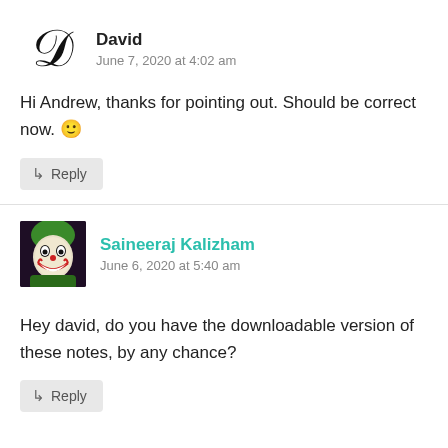David
June 7, 2020 at 4:02 am
Hi Andrew, thanks for pointing out. Should be correct now. 🙂
↳ Reply
Saineeraj Kalizham
June 6, 2020 at 5:40 am
Hey david, do you have the downloadable version of these notes, by any chance?
↳ Reply